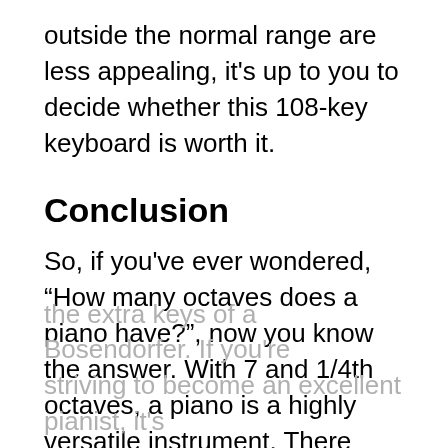outside the normal range are less appealing, it's up to you to decide whether this 108-key keyboard is worth it.
Conclusion
So, if you've ever wondered, “How many octaves does a piano have?”, now you know the answer. With 7 and 1/4th octaves, a piano is a highly versatile instrument. There aren’t many instruments with the same range and expressive possibilities. Some people prefer keyboards with fewer keys, and others prefer the extra keys of a Bosendorfer. If you're striving to become an excellent pianist, it's